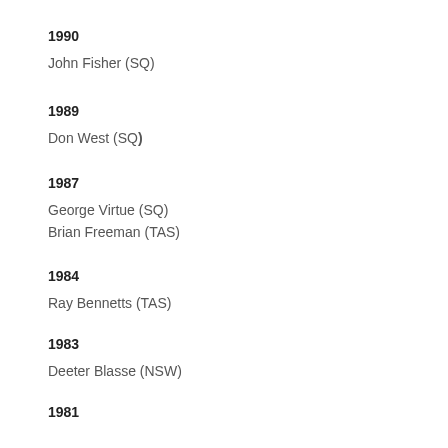1990
John Fisher (SQ)
1989
Don West (SQ)
1987
George Virtue (SQ)
Brian Freeman (TAS)
1984
Ray Bennetts (TAS)
1983
Deeter Blasse (NSW)
1981
Dick Owen (SQ)
John Stevenson (VIC)